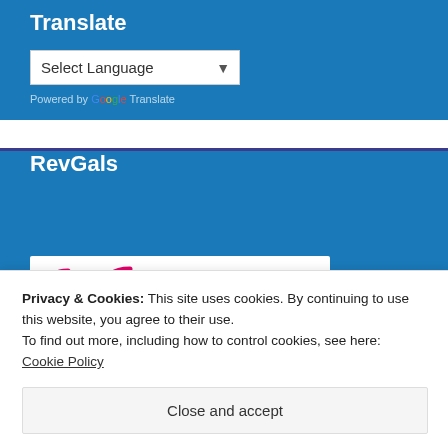Translate
Select Language
Powered by Google Translate
RevGals
[Figure (screenshot): Loading spinner icons in pink/magenta on white background]
Privacy & Cookies: This site uses cookies. By continuing to use this website, you agree to their use.
To find out more, including how to control cookies, see here: Cookie Policy
Close and accept